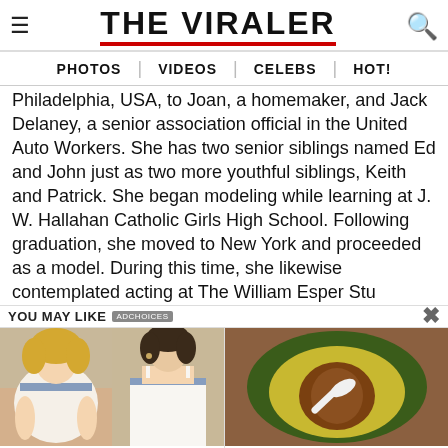THE VIRALER
PHOTOS | VIDEOS | CELEBS | HOT!
Philadelphia, USA, to Joan, a homemaker, and Jack Delaney, a senior association official in the United Auto Workers. She has two senior siblings named Ed and John just as two more youthful siblings, Keith and Patrick. She began modeling while learning at J. W. Hallahan Catholic Girls High School. Following graduation, she moved to New York and proceeded as a model. During this time, she likewise contemplated acting at The William Esper Stu
YOU MAY LIKE
[Figure (photo): Two women side by side, one larger woman in a blue-trimmed strapless dress and one woman in a white wedding gown with blue trim]
Woman From Ashburn Lost 52 Lbs In 28 Days Using 1 Simple Trick
[Figure (photo): Close-up of an avocado with a white object inside it]
Men, You Don't Need Viagra If You Do This Once A Day